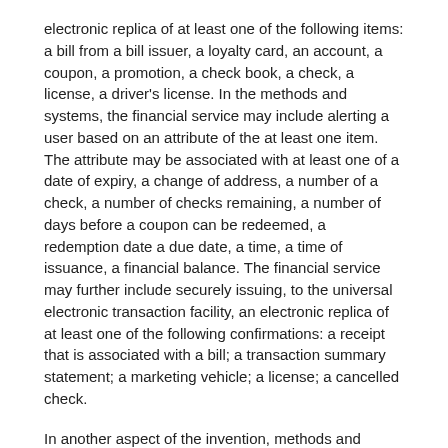electronic replica of at least one of the following items: a bill from a bill issuer, a loyalty card, an account, a coupon, a promotion, a check book, a check, a license, a driver's license. In the methods and systems, the financial service may include alerting a user based on an attribute of the at least one item. The attribute may be associated with at least one of a date of expiry, a change of address, a number of a check, a number of checks remaining, a number of days before a coupon can be redeemed, a redemption date a due date, a time, a time of issuance, a financial balance. The financial service may further include securely issuing, to the universal electronic transaction facility, an electronic replica of at least one of the following confirmations: a receipt that is associated with a bill; a transaction summary statement; a marketing vehicle; a license; a cancelled check.
In another aspect of the invention, methods and systems may include providing a coupon issuance financial service in association with a universal electronic transaction facility.
In another aspect of the invention, methods and systems